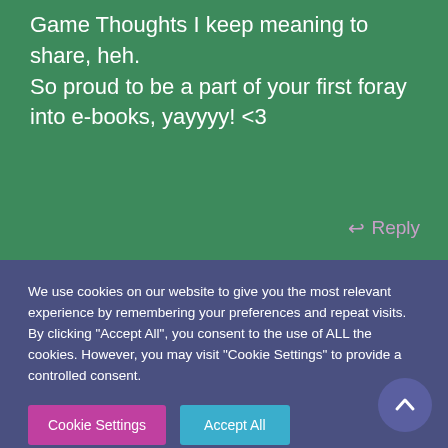on your blogposts, there are a lot of Board Game Thoughts I keep meaning to share, heh.

So proud to be a part of your first foray into e-books, yayyyy! <3
↩ Reply
We use cookies on our website to give you the most relevant experience by remembering your preferences and repeat visits. By clicking "Accept All", you consent to the use of ALL the cookies. However, you may visit "Cookie Settings" to provide a controlled consent.